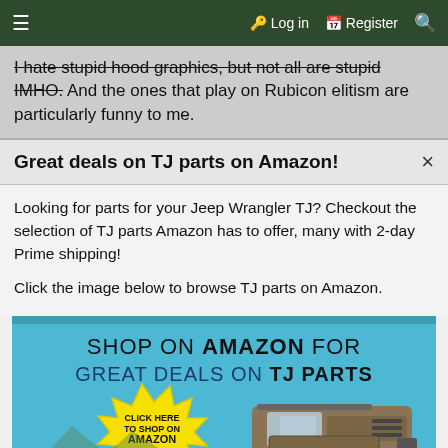≡   🔑 Log in   🗒 Register   🔍
I hate stupid hood graphics, but not all are stupid IMHO. And the ones that play on Rubicon elitism are particularly funny to me.
Great deals on TJ parts on Amazon!
Looking for parts for your Jeep Wrangler TJ? Checkout the selection of TJ parts Amazon has to offer, many with 2-day Prime shipping!
Click the image below to browse TJ parts on Amazon.
[Figure (illustration): Advertisement banner: SHOP ON AMAZON FOR GREAT DEALS ON TJ PARTS with a yellow starburst saying CLICK HERE TO SHOP ON AMAZON and a Jeep Wrangler Rubicon illustration on blue background]